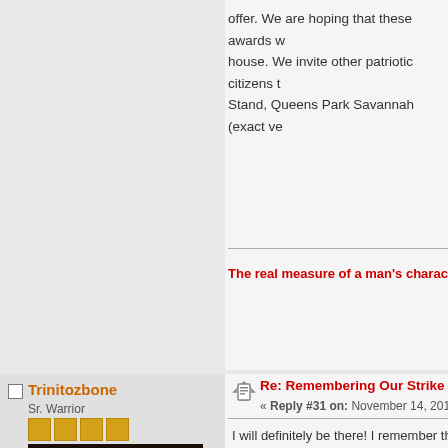offer. We are hoping that these awards w... house. We invite other patriotic citizens t... Stand, Queens Park Savannah (exact ve...
The real measure of a man's character is wh...
Trinitozbone
Sr. Warrior
Posts: 342
Re: Remembering Our Strike Sq...
« Reply #31 on: November 14, 2014, 09...
I will definitely be there! I remember that...
Sando
Re: Remembering Our Strike Sq...
« Reply #32 on: November 14, 2014, 10...